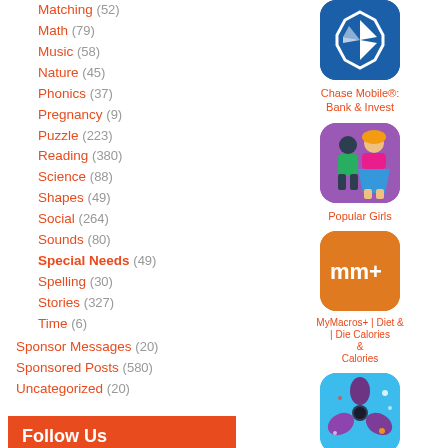Matching (52)
Math (79)
Music (58)
Nature (45)
Phonics (37)
Pregnancy (9)
Puzzle (223)
Reading (380)
Science (88)
Shapes (49)
Social (264)
Sounds (80)
Special Needs (49)
Spelling (30)
Stories (327)
Time (6)
Sponsor Messages (20)
Sponsored Posts (580)
Uncategorized (20)
Follow Us
Twitter
Facebook
[Figure (screenshot): Chase Mobile® Bank & Invest app icon - blue rounded rectangle with Chase logo]
Chase Mobile®: Bank & Invest
[Figure (screenshot): Popular Girls app icon - two cartoon girls on purple background]
Popular Girls
[Figure (screenshot): MyMacros+ Diet & Calories app icon - orange background with mm+ text]
MyMacros+ | Diet & | Die Calories & Calories
[Figure (screenshot): Fidget Toy Maker app icon - blue background with fidget spinner toy]
Fidget Toy Maker